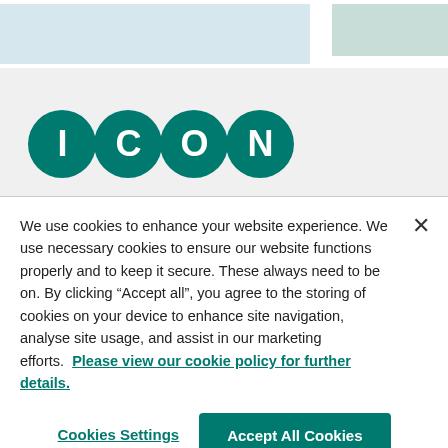[Figure (screenshot): Top banner area with two light blue/teal colored rectangular blocks side by side]
[Figure (logo): ICON company logo with four teal circles each containing the letters I, C, O, N in white]
We use cookies to enhance your website experience. We use necessary cookies to ensure our website functions properly and to keep it secure. These always need to be on. By clicking “Accept all”, you agree to the storing of cookies on your device to enhance site navigation, analyse site usage, and assist in our marketing efforts. Please view our cookie policy for further details.
Cookies Settings
Accept All Cookies